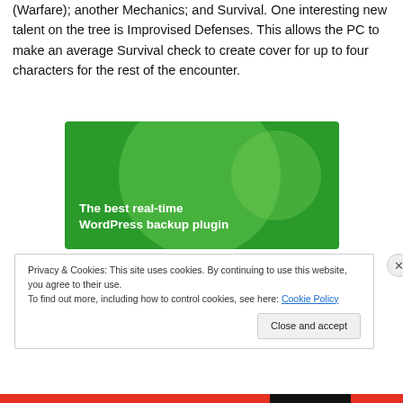(Warfare); another Mechanics; and Survival. One interesting new talent on the tree is Improvised Defenses. This allows the PC to make an average Survival check to create cover for up to four characters for the rest of the encounter.
[Figure (illustration): Green advertisement banner with text 'The best real-time WordPress backup plugin' and decorative circular shapes]
Privacy & Cookies: This site uses cookies. By continuing to use this website, you agree to their use.
To find out more, including how to control cookies, see here: Cookie Policy
Close and accept